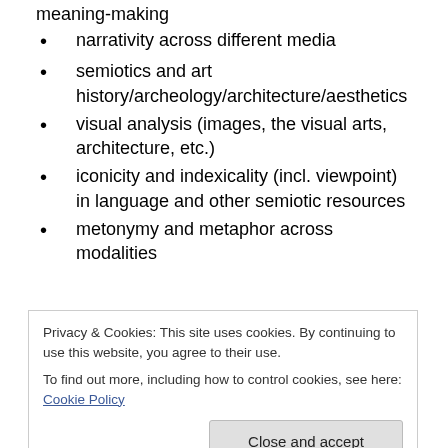meaning-making
narrativity across different media
semiotics and art history/archeology/architecture/aesthetics
visual analysis (images, the visual arts, architecture, etc.)
iconicity and indexicality (incl. viewpoint) in language and other semiotic resources
metonymy and metaphor across modalities
Privacy & Cookies: This site uses cookies. By continuing to use this website, you agree to their use.
To find out more, including how to control cookies, see here: Cookie Policy
cognition/communication